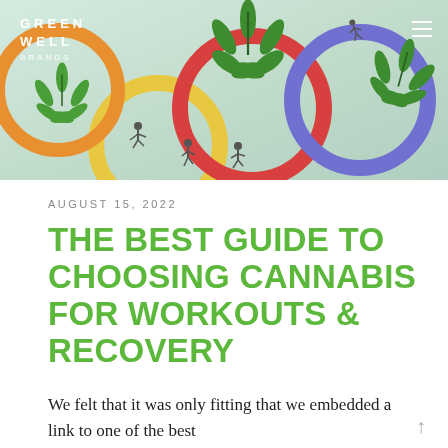[Figure (photo): Header image showing cannabis leaves and colorful Olympic-style rings with small human figures running/jumping, with Green Well Brands logo in top left and hamburger menu in top right]
AUGUST 15, 2022
THE BEST GUIDE TO CHOOSING CANNABIS FOR WORKOUTS & RECOVERY
We felt that it was only fitting that we embedded a link to one of the best